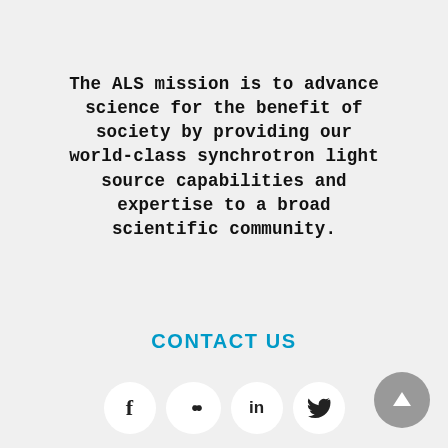The ALS mission is to advance science for the benefit of society by providing our world-class synchrotron light source capabilities and expertise to a broad scientific community.
CONTACT US
[Figure (infographic): Row of four white circular social media icon buttons: Facebook (f), Flickr (••), LinkedIn (in), Twitter (bird/y). A grey circular scroll-to-top button with upward arrow is at the bottom right.]